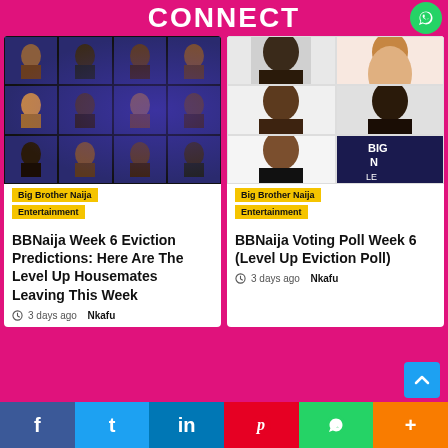CONNECT
[Figure (photo): Grid of Big Brother Naija housemate photos on dark blue background]
Big Brother Naija
Entertainment
BBNaija Week 6 Eviction Predictions: Here Are The Level Up Housemates Leaving This Week
3 days ago  Nkafu
[Figure (photo): Grid of Big Brother Naija housemate photos on white background with colorful contestant photos]
Big Brother Naija
Entertainment
BBNaija Voting Poll Week 6 (Level Up Eviction Poll)
3 days ago  Nkafu
f  t  in  P  WhatsApp  +